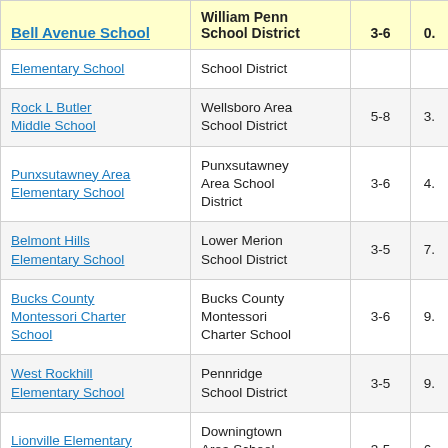| Bell Avenue School | William Penn School District | 3-6 | 0. |
| --- | --- | --- | --- |
| Elementary School | School District |  |  |
| Rock L Butler Middle School | Wellsboro Area School District | 5-8 | 3. |
| Punxsutawney Area Elementary School | Punxsutawney Area School District | 3-6 | 4. |
| Belmont Hills Elementary School | Lower Merion School District | 3-5 | 7. |
| Bucks County Montessori Charter School | Bucks County Montessori Charter School | 3-6 | 9. |
| West Rockhill Elementary School | Pennridge School District | 3-5 | 9. |
| Lionville Elementary School | Downingtown Area School District | 3-5 | 6. |